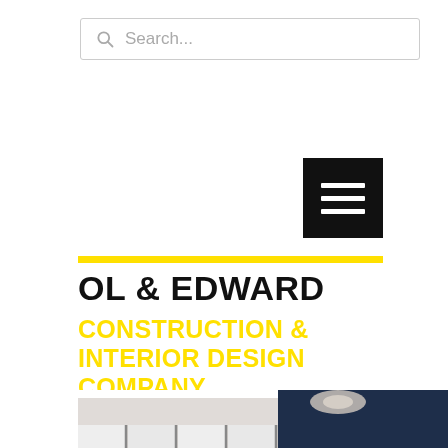[Figure (screenshot): Search bar with magnifying glass icon and placeholder text 'Search...']
[Figure (other): Black hamburger menu button with three white horizontal lines]
OL & EDWARD
CONSTRUCTION & INTERIOR DESIGN COMPANY
[Figure (photo): Interior photo of a luxury bedroom with sliding mirror wardrobes, navy blue walls, chandelier, tufted headboard bed, decorative wall mirrors, and a right-arrow navigation button]